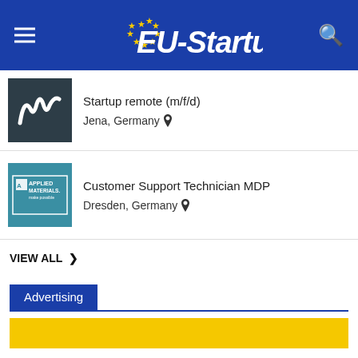[Figure (logo): EU-Startups website header with logo, hamburger menu icon, and search icon on dark blue background]
[Figure (logo): Dark teal company logo with stylized M/double-slash icon]
Startup remote (m/f/d)
Jena, Germany
[Figure (logo): Applied Materials logo on teal background - make possible]
Customer Support Technician MDP
Dresden, Germany
VIEW ALL >
Advertising